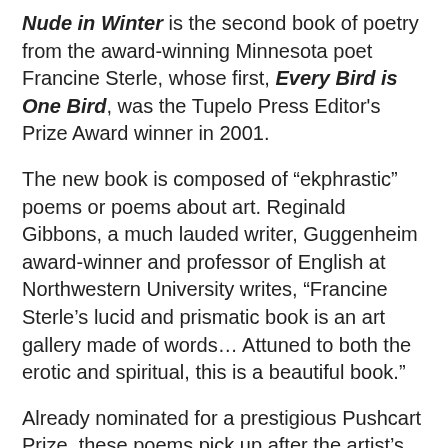Nude in Winter is the second book of poetry from the award-winning Minnesota poet Francine Sterle, whose first, Every Bird is One Bird, was the Tupelo Press Editor's Prize Award winner in 2001.
The new book is composed of "ekphrastic" poems or poems about art. Reginald Gibbons, a much lauded writer, Guggenheim award-winner and professor of English at Northwestern University writes, "Francine Sterle's lucid and prismatic book is an art gallery made of words… Attuned to both the erotic and spiritual, this is a beautiful book."
Already nominated for a prestigious Pushcart Prize, these poems pick up after the artist's brush is put down. Sterle seduces us into the canvas with urgent, provocative language. She delves into a diversity of artists and images-from Monet and Degas to Helen Frankenthaler and the